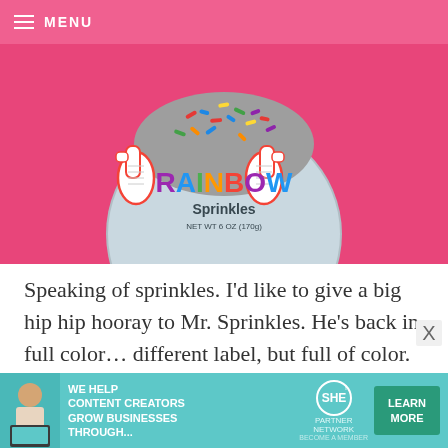MENU
[Figure (photo): A round blue container of Rainbow Sprinkles with colorful sprinkles on top, showing two cartoon thumbs-up hands on the label. The jar sits on a bright pink background. Label reads RAINBOW Sprinkles NET WT 6 OZ (170g).]
Speaking of sprinkles. I’d like to give a big hip hip hooray to Mr. Sprinkles. He’s back in full color… different label, but full of color. If you’ve followed the site for a while, you may remember when they switched to only making all natural colors. Mr.
[Figure (infographic): Advertisement banner: 'WE HELP CONTENT CREATORS GROW BUSINESSES THROUGH...' with SHE! PARTNER NETWORK logo and a LEARN MORE button. Teal/cyan background with a woman using a laptop.]